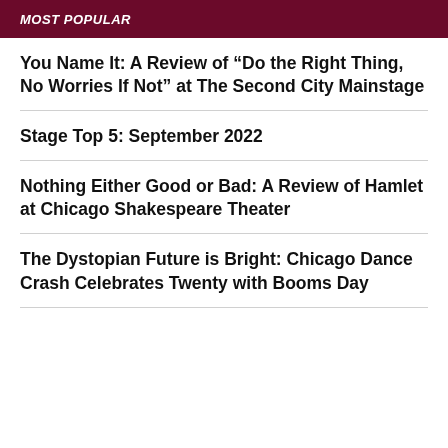MOST POPULAR
You Name It: A Review of “Do the Right Thing, No Worries If Not” at The Second City Mainstage
Stage Top 5: September 2022
Nothing Either Good or Bad: A Review of Hamlet at Chicago Shakespeare Theater
The Dystopian Future is Bright: Chicago Dance Crash Celebrates Twenty with Booms Day